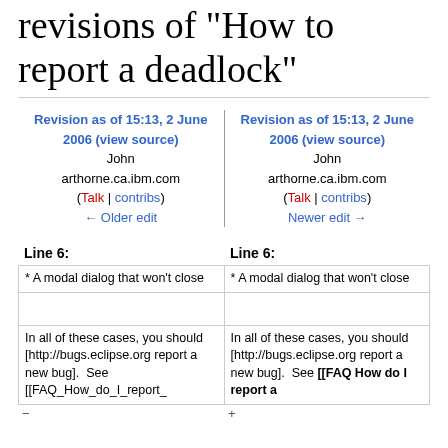revisions of "How to report a deadlock"
Revision as of 15:13, 2 June 2006 (view source)
John arthorne.ca.ibm.com (Talk | contribs)
← Older edit
Revision as of 15:13, 2 June 2006 (view source)
John arthorne.ca.ibm.com (Talk | contribs)
Newer edit →
Line 6:
Line 6:
| * A modal dialog that won't close | * A modal dialog that won't close |
|  |  |
| In all of these cases, you should [http://bugs.eclipse.org report a new bug].  See [[FAQ_How_do_I_report_ | In all of these cases, you should [http://bugs.eclipse.org report a new bug].  See [[FAQ How do I report a |